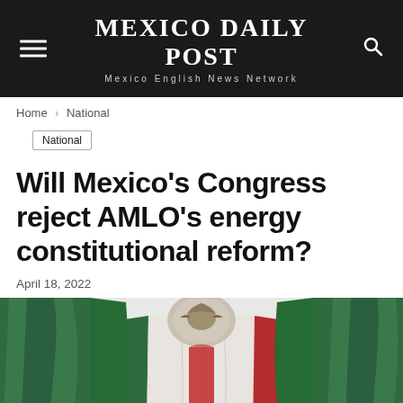MEXICO DAILY POST
Mexico English News Network
Home > National
National
Will Mexico's Congress reject AMLO's energy constitutional reform?
April 18, 2022
[Figure (photo): Mexican Congress chamber interior showing the large Mexican flag draped behind the speaker's podium, with officials seated at the front. The eagle emblem of Mexico is visible above the flag display, and green draping frames the scene.]